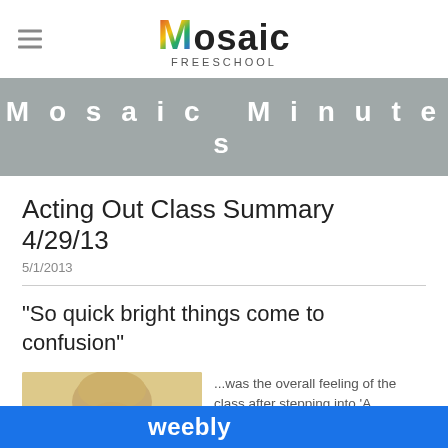Mosaic Freeschool
Mosaic Minutes
Acting Out Class Summary 4/29/13
5/1/2013
"So quick bright things come to confusion"
[Figure (illustration): Illustration of Shakespeare's head with a curled question mark symbol]
...was the overall feeling of the class after stepping into 'A Midsummer Night's Dream' this week. Schedule and